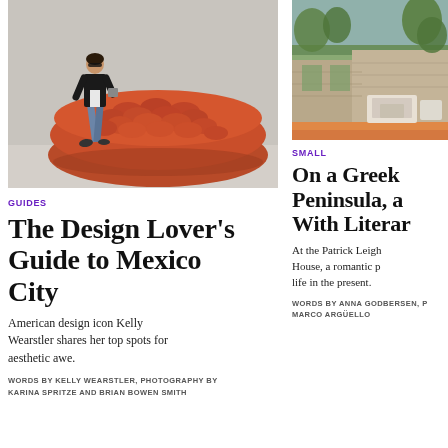[Figure (photo): Woman in black jacket and jeans walking past a large circular red/orange sculptural installation made of rolled terracotta-colored tubes in a concrete gallery space]
GUIDES
The Design Lover's Guide to Mexico City
American design icon Kelly Wearstler shares her top spots for aesthetic awe.
WORDS BY KELLY WEARSTLER, PHOTOGRAPHY BY KARINA SPRITZE AND BRIAN BOWEN SMITH
[Figure (photo): Outdoor terrace of a stone house with garden furniture, overlooking a lush hillside landscape in Greece]
SMALL
On a Greek Peninsula, a With Literar
At the Patrick Leigh House, a romantic p life in the present.
WORDS BY ANNA GODBERSEN, P MARCO ARGÜELLO